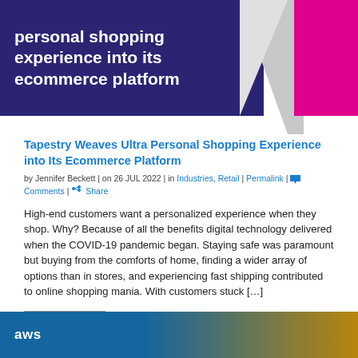[Figure (illustration): Hero banner with dark purple background on left showing white bold text about personal shopping experience into its ecommerce platform, gray diagonal shape in middle, and magenta/pink rectangle on right]
Tapestry Weaves Ultra Personal Shopping Experience into Its Ecommerce Platform
by Jennifer Beckett | on 26 JUL 2022 | in Industries, Retail | Permalink | Comments | Share
High-end customers want a personalized experience when they shop. Why? Because of all the benefits digital technology delivered when the COVID-19 pandemic began. Staying safe was paramount but buying from the comforts of home, finding a wider array of options than in stores, and experiencing fast shipping contributed to online shopping mania. With customers stuck […]
[Figure (screenshot): Bottom banner showing AWS logo text on a blue to golden-brown gradient background]